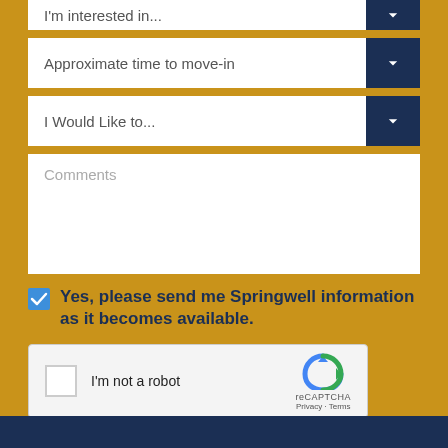[Figure (screenshot): Partially visible dropdown form field with placeholder text 'I'm interested in...' and a dark navy chevron button on the right.]
[Figure (screenshot): Dropdown form field with placeholder text 'Approximate time to move-in' and a dark navy chevron button on the right.]
[Figure (screenshot): Dropdown form field with placeholder text 'I Would Like to...' and a dark navy chevron button on the right.]
[Figure (screenshot): Comments text area with placeholder text 'Comments'.]
Yes, please send me Springwell information as it becomes available.
[Figure (screenshot): reCAPTCHA widget with checkbox 'I'm not a robot' and Google reCAPTCHA logo with Privacy and Terms links.]
[Figure (screenshot): SUBMIT button with chevron arrow, dark navy background, white uppercase text.]